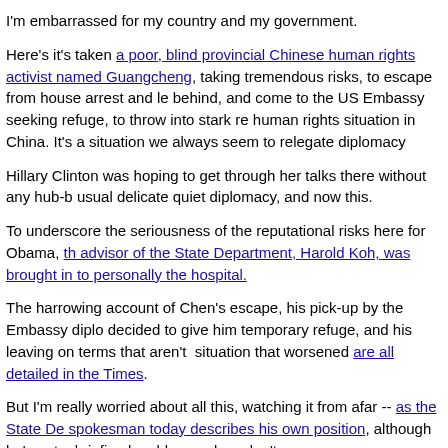I'm embarrassed for my country and my government.
Here's it's taken a poor, blind provincial Chinese human rights activist named Guangcheng, taking tremendous risks, to escape from house arrest and leave his family behind, and come to the US Embassy seeking refuge, to throw into stark relief the human rights situation in China. It's a situation we always seem to relegate to quiet diplomacy
Hillary Clinton was hoping to get through her talks there without any hub-bub, usual delicate quiet diplomacy, and now this.
To underscore the seriousness of the reputational risks here for Obama, the legal advisor of the State Department, Harold Koh, was brought in to personally visit him at the hospital.
The harrowing account of Chen's escape, his pick-up by the Embassy diplomats who decided to give him temporary refuge, and his leaving on terms that aren't clear, in a situation that worsened are all detailed in the Times.
But I'm really worried about all this, watching it from afar -- as the State Department spokesman today describes his own position, although he's got a briefing book and cables, and we don't.
What's really going on? Why couldn't Chen stay in the Embassy? He says officials "weren't proactive enough" and essentially asked him to leave, according to reports. Why couldn't a US official stay with him until he's had adequate time to articulate his wishes and leave the country with his family if that is what he wishes?
There's a lot of confusion, but having been involved myself in these high-stakes, visible summit dramas between superpowers, such as with the exchange involving release of political prisoner Yuri Orlov and journalist Nick Daniloff for Soviet spies (